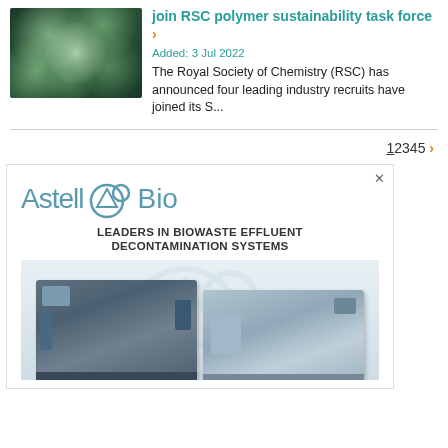[Figure (photo): Microscopic image of green glowing bacteria or cells with spherical structures connected by filaments on dark background]
join RSC polymer sustainability task force ›
Added: 3 Jul 2022
The Royal Society of Chemistry (RSC) has announced four leading industry recruits have joined its S...
1 2 3 4 5 ›
[Figure (illustration): AstelloBio advertisement - Leaders in Biowaste Effluent Decontamination Systems with industrial machinery photo]